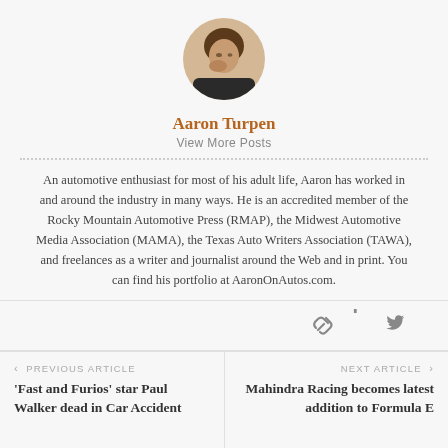[Figure (photo): Circular avatar photo of Aaron Turpen, a person with their hand near their face]
Aaron Turpen
View More Posts
An automotive enthusiast for most of his adult life, Aaron has worked in and around the industry in many ways. He is an accredited member of the Rocky Mountain Automotive Press (RMAP), the Midwest Automotive Media Association (MAMA), the Texas Auto Writers Association (TAWA), and freelances as a writer and journalist around the Web and in print. You can find his portfolio at AaronOnAutos.com.
[Figure (illustration): Social media icons: link/chain icon, Facebook icon, Twitter icon]
‹ PREVIOUS ARTICLE
'Fast and Furios' star Paul Walker dead in Car Accident
NEXT ARTICLE ›
Mahindra Racing becomes latest addition to Formula E